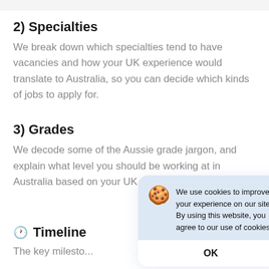2) Specialties
We break down which specialties tend to have vacancies and how your UK experience would translate to Australia, so you can decide which kinds of jobs to apply for.
3) Grades
We decode some of the Aussie grade jargon, and explain what level you should be working at in Australia based on your UK equiva
[Figure (other): Cookie consent popup dialog with cookie emoji, text reading 'We use cookies to improve your experience on our site. By using this website, you agree to our use of cookies.' and an OK button.]
🕐  Timeline
The key milesto...